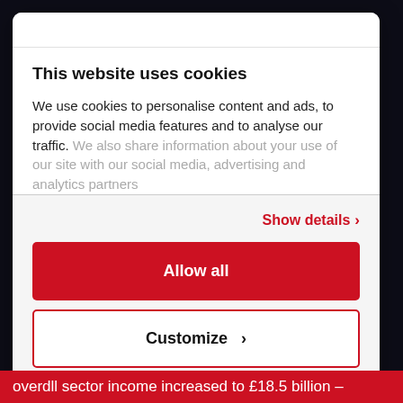This website uses cookies
We use cookies to personalise content and ads, to provide social media features and to analyse our traffic. We also share information about your use of our site with our social media, advertising and analytics partners
Show details ›
Allow all
Customize ›
Powered by Cookiebot by Usercentrics
overdll sector income increased to £18.5 billion –